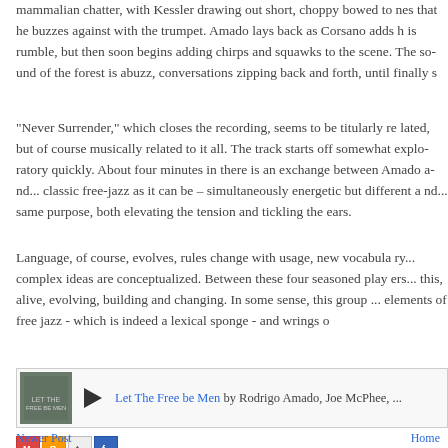mammalian chatter, with Kessler drawing out short, choppy bowed tones that he buzzes against with the trumpet. Amado lays back as Corsano adds his rumble, but then soon begins adding chirps and squawks to the scene. The sound of the forest is abuzz, conversations zipping back and forth, until finally s
"Never Surrender," which closes the recording, seems to be titularly related, but of course musically related to it all. The track starts off somewhat exploratory quickly. About four minutes in there is an exchange between Amado and... classic free-jazz as it can be – simultaneously energetic but different a... same purpose, both elevating the tension and tickling the ears.
Language, of course, evolves, rules change with usage, new vocabulary... complex ideas are conceptualized. Between these four seasoned players... this, alive, evolving, building and changing. In some sense, this group... elements of free jazz - which is indeed a lexical sponge - and wrings o...
[Figure (other): Music player widget showing album thumbnail, play button, and track info: 'Let The Free be Men by Rodrigo Amado, Joe McPhee, ...']
[Figure (other): Social share icons: Email, Blogger, Twitter, Facebook]
Newer Post    Home